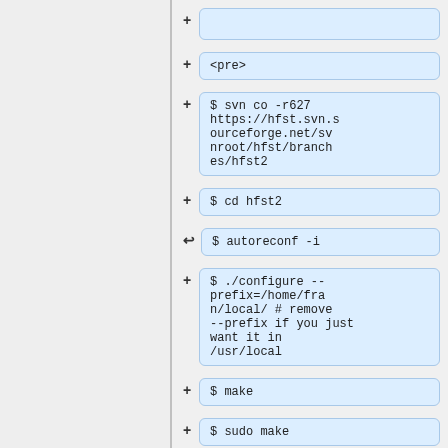[Figure (screenshot): Tree/diff view of code blocks in a documentation editor, showing SVN checkout and build commands for hfst2 project]
<pre>
$ svn co -r627 https://hfst.svn.sourceforge.net/svnroot/hfst/branches/hfst2
$ cd hfst2
$ autoreconf -i
$ ./configure --prefix=/home/fran/local/ # remove --prefix if you just want it in /usr/local
$ make
$ sudo make